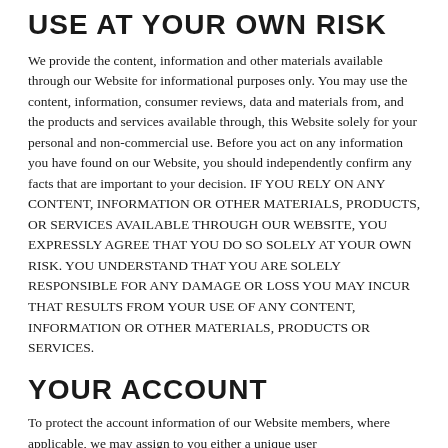USE AT YOUR OWN RISK
We provide the content, information and other materials available through our Website for informational purposes only. You may use the content, information, consumer reviews, data and materials from, and the products and services available through, this Website solely for your personal and non-commercial use. Before you act on any information you have found on our Website, you should independently confirm any facts that are important to your decision. IF YOU RELY ON ANY CONTENT, INFORMATION OR OTHER MATERIALS, PRODUCTS, OR SERVICES AVAILABLE THROUGH OUR WEBSITE, YOU EXPRESSLY AGREE THAT YOU DO SO SOLELY AT YOUR OWN RISK. YOU UNDERSTAND THAT YOU ARE SOLELY RESPONSIBLE FOR ANY DAMAGE OR LOSS YOU MAY INCUR THAT RESULTS FROM YOUR USE OF ANY CONTENT, INFORMATION OR OTHER MATERIALS, PRODUCTS OR SERVICES.
YOUR ACCOUNT
To protect the account information of our Website members, where applicable, we may assign to you either a unique user